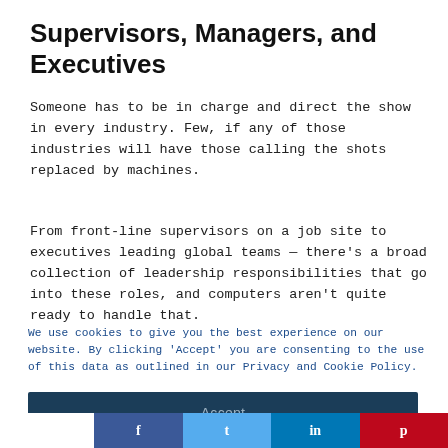Supervisors, Managers, and Executives
Someone has to be in charge and direct the show in every industry. Few, if any of those industries will have those calling the shots replaced by machines.
From front-line supervisors on a job site to executives leading global teams — there's a broad collection of leadership responsibilities that go into these roles, and computers aren't quite ready to handle that.
We use cookies to give you the best experience on our website. By clicking 'Accept' you are consenting to the use of this data as outlined in our Privacy and Cookie Policy.
Accept